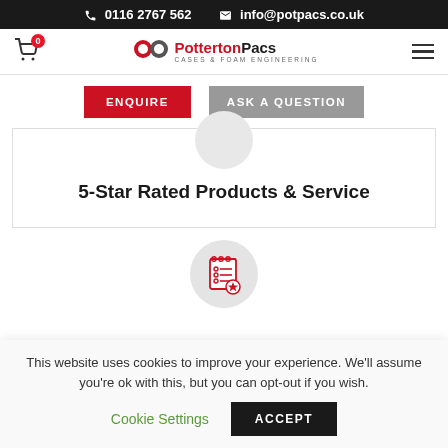📞 0116 2767 562   ✉ info@potpacs.co.uk
[Figure (logo): Potterton Pacs logo with red PP icon and tagline CASES & FOAM ENGINEERING]
ENQUIRE   ASK A QUESTION
5-Star Rated Products & Service
[Figure (illustration): Red checklist/notepad icon with star on circular grey background]
This website uses cookies to improve your experience. We'll assume you're ok with this, but you can opt-out if you wish.
Cookie Settings   ACCEPT